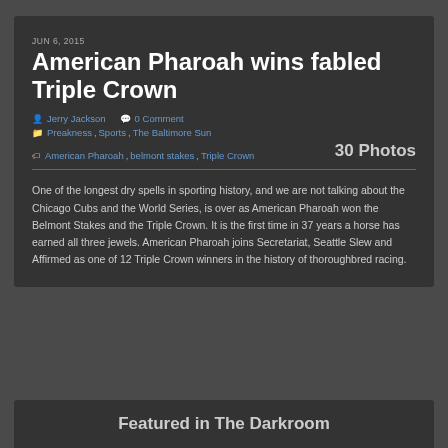JUN 6, 2015
American Pharoah wins fabled Triple Crown
Jerry Jackson  0 Comment
Preakness, Sports, The Baltimore Sun
American Pharoah, belmont stakes, Triple Crown  30 Photos
One of the longest dry spells in sporting history, and we are not talking about the Chicago Cubs and the World Series, is over as American Pharoah won the Belmont Stakes and the Triple Crown. It is the first time in 37 years a horse has earned all three jewels. American Pharoah joins Secretariat, Seattle Slew and Affirmed as one of 12 Triple Crown winners in the history of thoroughbred racing.
Featured in The Darkroom